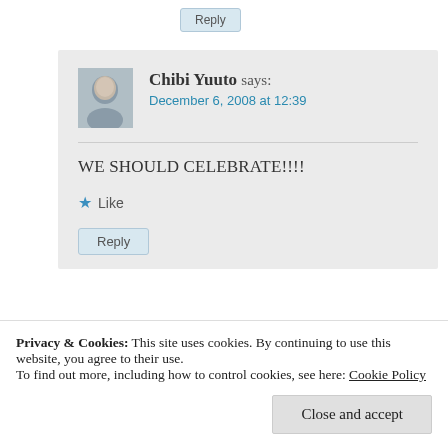Reply
Chibi Yuuto says:
December 6, 2008 at 12:39
WE SHOULD CELEBRATE!!!!
Like
Reply
Privacy & Cookies: This site uses cookies. By continuing to use this website, you agree to their use.
To find out more, including how to control cookies, see here: Cookie Policy
Close and accept